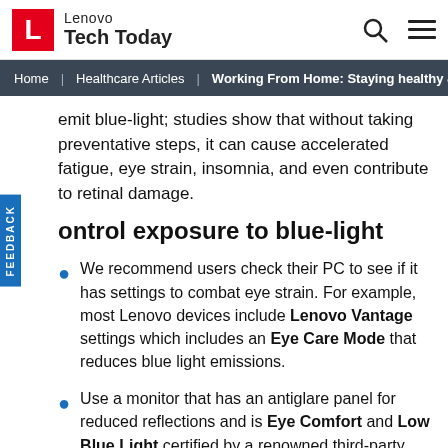Lenovo Tech Today
Home | Healthcare Articles | Working From Home: Staying healthy & p...
emit blue-light; studies show that without taking preventative steps, it can cause accelerated fatigue, eye strain, insomnia, and even contribute to retinal damage.
ontrol exposure to blue-light
We recommend users check their PC to see if it has settings to combat eye strain. For example, most Lenovo devices include Lenovo Vantage settings which includes an Eye Care Mode that reduces blue light emissions.
Use a monitor that has an antiglare panel for reduced reflections and is Eye Comfort and Low Blue Light certified by a renowned third-party like TÜV Rheinland.